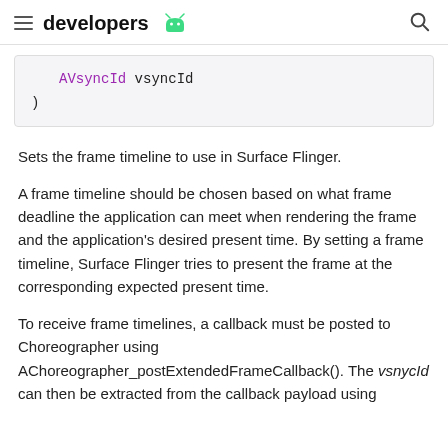developers
AVsyncId vsyncId
)
Sets the frame timeline to use in Surface Flinger.
A frame timeline should be chosen based on what frame deadline the application can meet when rendering the frame and the application's desired present time. By setting a frame timeline, Surface Flinger tries to present the frame at the corresponding expected present time.
To receive frame timelines, a callback must be posted to Choreographer using AChoreographer_postExtendedFrameCallback(). The vsnycId can then be extracted from the callback payload using